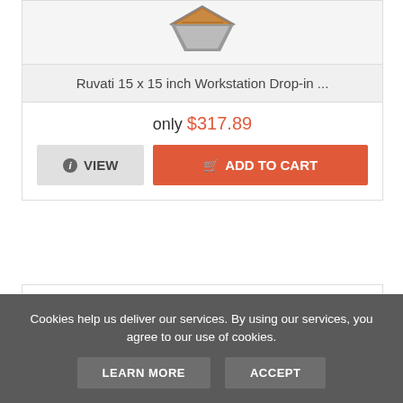[Figure (photo): Top portion of a Ruvati workstation drop-in sink product image on light gray background]
Ruvati 15 x 15 inch Workstation Drop-in ...
only $317.89
VIEW
ADD TO CART
[Figure (photo): Bottom product card showing partial view of a black round/oval product on white background]
Cookies help us deliver our services. By using our services, you agree to our use of cookies.
LEARN MORE
ACCEPT